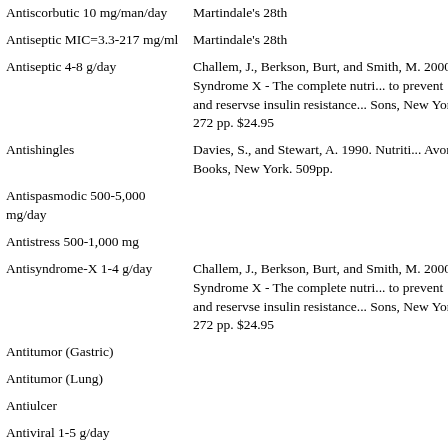| Activity/Dosage | Reference |
| --- | --- |
| Antiscorbutic 10 mg/man/day | Martindale's 28th |
| Antiseptic MIC=3.3-217 mg/ml | Martindale's 28th |
| Antiseptic 4-8 g/day | Challem, J., Berkson, Burt, and Smith, M. 2000. Syndrome X - The complete nutri... to prevent and reservse insulin resistance... Sons, New York. 272 pp. $24.95 |
| Antishingles | Davies, S., and Stewart, A. 1990. Nutriti... Avon Books, New York. 509pp. |
| Antispasmodic 500-5,000 mg/day |  |
| Antistress 500-1,000 mg |  |
| Antisyndrome-X 1-4 g/day | Challem, J., Berkson, Burt, and Smith, M. 2000. Syndrome X - The complete nutri... to prevent and reservse insulin resistance... Sons, New York. 272 pp. $24.95 |
| Antitumor (Gastric) |  |
| Antitumor (Lung) |  |
| Antiulcer |  |
| Antiviral 1-5 g/day |  |
| Apoptotic 1-10 mM |  |